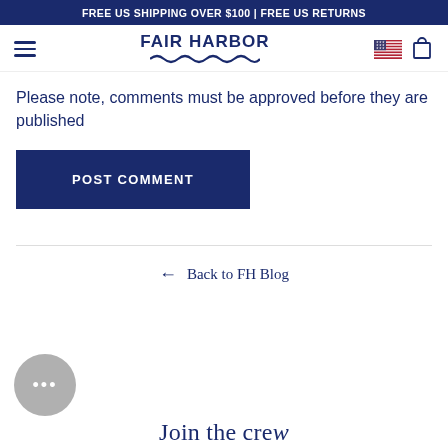FREE US SHIPPING OVER $100 | FREE US RETURNS
[Figure (logo): Fair Harbor logo with wavy underline, hamburger menu icon, US flag icon, and shopping bag icon in navigation bar]
Please note, comments must be approved before they are published
POST COMMENT
← Back to FH Blog
[Figure (other): Gray circular chat bubble button with three dots]
Join the crew